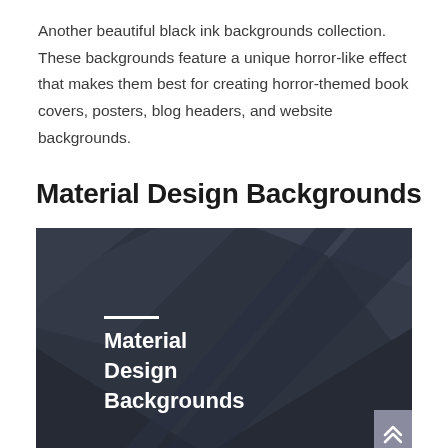Another beautiful black ink backgrounds collection. These backgrounds feature a unique horror-like effect that makes them best for creating horror-themed book covers, posters, blog headers, and website backgrounds.
Material Design Backgrounds
[Figure (illustration): Dark material design background image with diagonal geometric shapes in dark gray/charcoal tones. White horizontal line accent above bold white text reading 'Material Design Backgrounds'. A purple scroll-to-top button with double chevron is in the bottom right corner.]